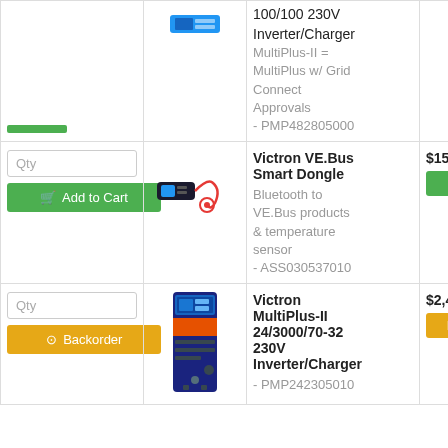| Action | Image | Description | Price/Stock |
| --- | --- | --- | --- |
| [green bar] [Add to Cart] | [blue device image] | 100/100 230V Inverter/Charger
MultiPlus-II = MultiPlus w/ Grid Connect Approvals
- PMP482805000 |  |
| Qty
[Add to Cart] | [VE.Bus Smart Dongle image] | Victron VE.Bus Smart Dongle
Bluetooth to VE.Bus products & temperature sensor
- ASS030537010 | $158.40
In stock |
| Qty
[Backorder] | [MultiPlus-II device image] | Victron MultiPlus-II 24/3000/70-32 230V Inverter/Charger
- PMP242305010 | $2,417.3
Back O... |